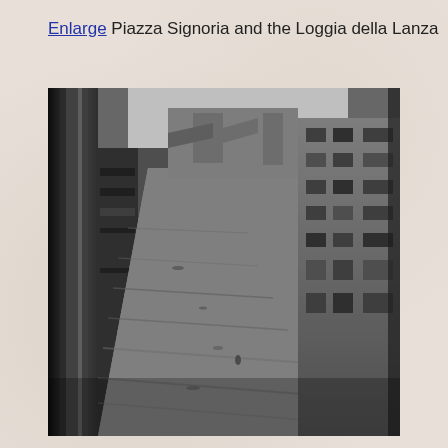Enlarge Piazza Signoria and the Loggia della Lanza
[Figure (photo): Black and white photograph of Piazza Signoria and the Loggia della Lanza in Florence, taken from an elevated angle showing flooded streets with buildings on either side, the image appears to be from the 1966 Florence flood.]